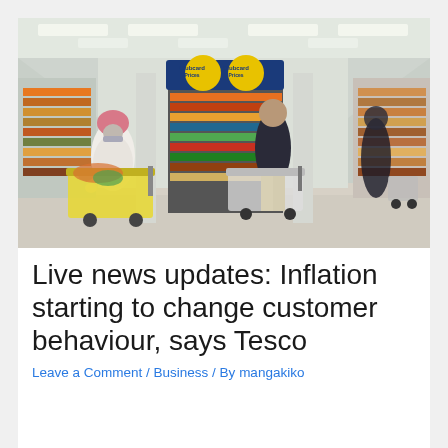[Figure (photo): Interior of a Tesco supermarket showing shoppers with trolleys in an aisle. Two yellow circular Clubcard Prices signs hang from the ceiling above shelves stocked with colourful products. A woman wearing a pink hat and mask pushes a full shopping trolley on the left, and another customer browses products in the centre-right.]
Live news updates: Inflation starting to change customer behaviour, says Tesco
Leave a Comment / Business / By mangakiko